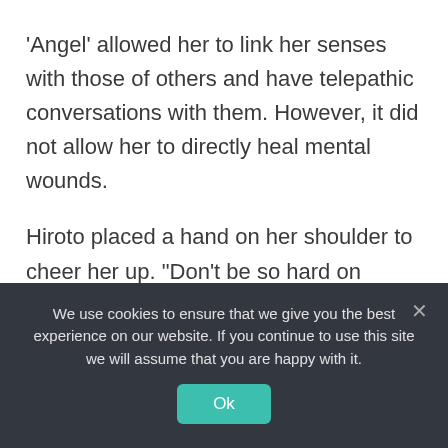'Angel' allowed her to link her senses with those of others and have telepathic conversations with them. However, it did not allow her to directly heal mental wounds.

Hiroto placed a hand on her shoulder to cheer her up. "Don't be so hard on yourself. Hiroshi doesn't seem to be disturbed by those nightmares anymore these days. When I saw his
We use cookies to ensure that we give you the best experience on our website. If you continue to use this site we will assume that you are happy with it.